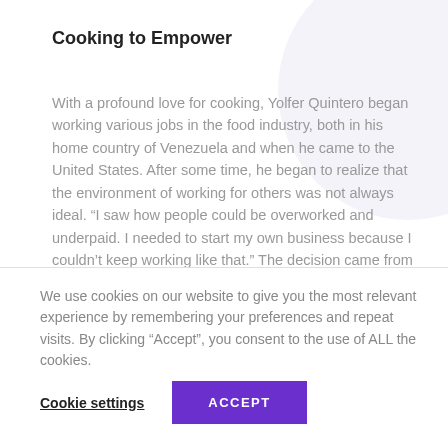Cooking to Empower
With a profound love for cooking, Yolfer Quintero began working various jobs in the food industry, both in his home country of Venezuela and when he came to the United States. After some time, he began to realize that the environment of working for others was not always ideal. “I saw how people could be overworked and underpaid. I needed to start my own business because I couldn’t keep working like that.” The decision came from a desire to not only empower himself, but others in similar predicaments. “I wanted to encourage those who don’t always have the
We use cookies on our website to give you the most relevant experience by remembering your preferences and repeat visits. By clicking “Accept”, you consent to the use of ALL the cookies.
Cookie settings   ACCEPT